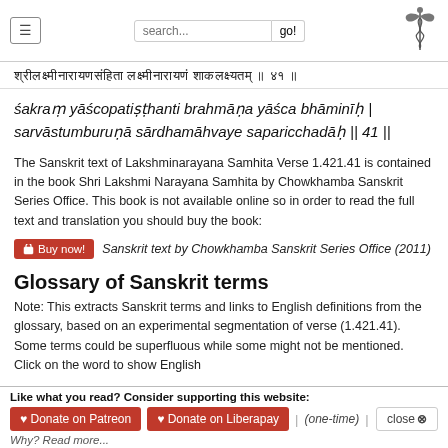Navigation bar with hamburger menu, search box, go button, and caduceus logo
॥ Sanskrit Devanagari text line ॥
śakraṃ yāścopatiṣṭhanti brahmāṇa yāśca bhāminīḥ | sarvāstumburuṇā sārdhamāhvaye saparicchadāḥ || 41 ||
The Sanskrit text of Lakshminarayana Samhita Verse 1.421.41 is contained in the book Shri Lakshmi Narayana Samhita by Chowkhamba Sanskrit Series Office. This book is not available online so in order to read the full text and translation you should buy the book:
Buy now! Sanskrit text by Chowkhamba Sanskrit Series Office (2011)
Glossary of Sanskrit terms
Note: This extracts Sanskrit terms and links to English definitions from the glossary, based on an experimental segmentation of verse (1.421.41). Some terms could be superfluous while some might not be mentioned. Click on the word to show English
Like what you read? Consider supporting this website: ♥ Donate on Patreon  ♥ Donate on Liberapay | (one-time) | close ⊗  Why? Read more...